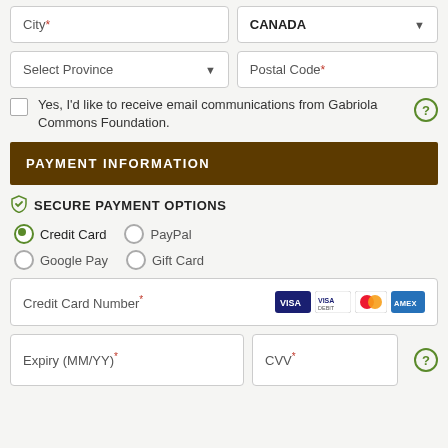[Figure (screenshot): Web form with City and CANADA dropdown fields in a row]
[Figure (screenshot): Web form with Select Province dropdown and Postal Code field in a row]
Yes, I'd like to receive email communications from Gabriola Commons Foundation.
PAYMENT INFORMATION
SECURE PAYMENT OPTIONS
Credit Card   PayPal   Google Pay   Gift Card
Credit Card Number*
Expiry (MM/YY)*   CVV*